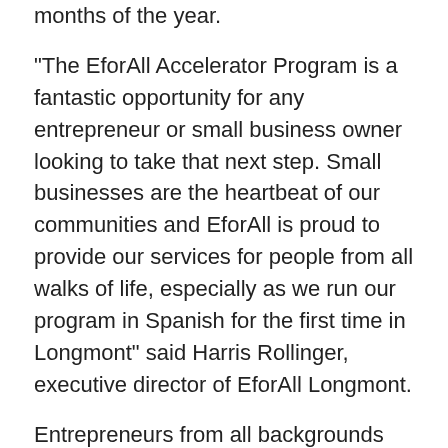months of the year.
“The EforAll Accelerator Program is a fantastic opportunity for any entrepreneur or small business owner looking to take that next step. Small businesses are the heartbeat of our communities and EforAll is proud to provide our services for people from all walks of life, especially as we run our program in Spanish for the first time in Longmont” said Harris Rollinger, executive director of EforAll Longmont.
Entrepreneurs from all backgrounds and industries are encouraged to apply online at eforall.org. Interviews will be held and a cohort will be selected to start in December.
For more information about EforAll Longmont, reach out to Rollinger at harris@eforall.org or visit eforall.org/co/longmont.